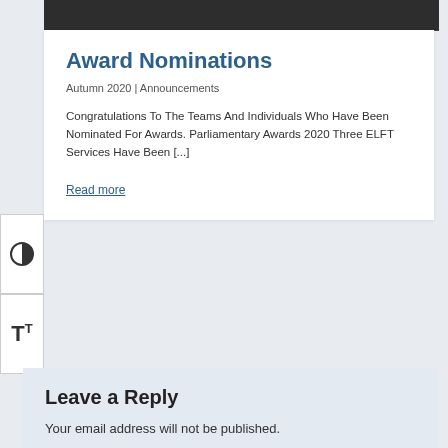[Figure (photo): Dark chalkboard image at top of card]
Award Nominations
Autumn 2020 | Announcements
Congratulations To The Teams And Individuals Who Have Been Nominated For Awards. Parliamentary Awards 2020 Three ELFT Services Have Been [...]
Read more
[Figure (infographic): Contrast toggle button on left sidebar]
[Figure (infographic): Text size toggle button on left sidebar]
Leave a Reply
Your email address will not be published.